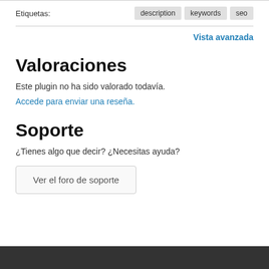Etiquetas:
description  keywords  seo
Vista avanzada
Valoraciones
Este plugin no ha sido valorado todavía.
Accede para enviar una reseña.
Soporte
¿Tienes algo que decir? ¿Necesitas ayuda?
Ver el foro de soporte